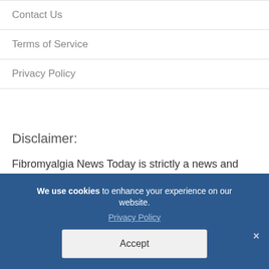Contact Us
Terms of Service
Privacy Policy
Disclaimer:
Fibromyalgia News Today is strictly a news and information website about the disease. It does not provide medical advice, diagnosis or treatment  This
We use cookies to enhance your experience on our website. Privacy Policy Accept